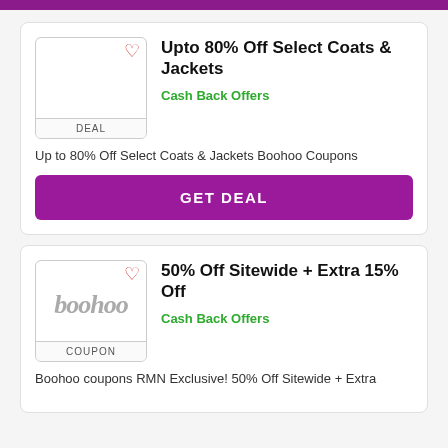Upto 80% Off Select Coats & Jackets
Cash Back Offers
Up to 80% Off Select Coats & Jackets Boohoo Coupons
GET DEAL
50% Off Sitewide + Extra 15% Off
Cash Back Offers
Boohoo coupons RMN Exclusive! 50% Off Sitewide + Extra